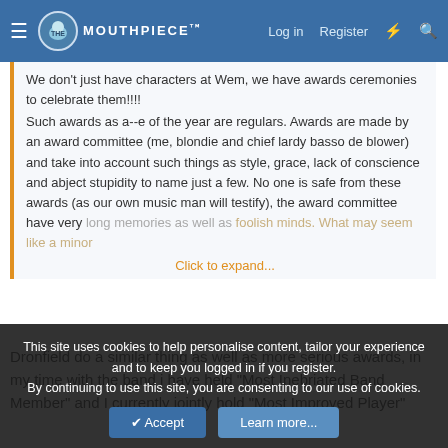The Mouthpiece - Log in | Register
We don't just have characters at Wem, we have awards ceremonies to celebrate them!!!! Such awards as a--e of the year are regulars. Awards are made by an award committee (me, blondie and chief lardy basso de blower) and take into account such things as style, grace, lack of conscience and abject stupidity to name just a few. No one is safe from these awards (as our own music man will testify), the award committee have very long memories as well as...
Click to expand...
Dronfield do a similar thing as well as more serious awards, in my time with the band i have held "Most Inebriated Band Member" and I currently jointly hold "Most Improved Player"
sparkling_quavers
This site uses cookies to help personalise content, tailor your experience and to keep you logged in if you register.
By continuing to use this site, you are consenting to our use of cookies.